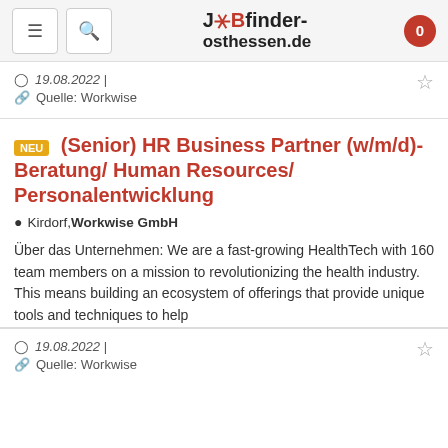JOBfinder-osthessen.de
19.08.2022 | Quelle: Workwise
NEU (Senior) HR Business Partner (w/m/d)- Beratung/ Human Resources/ Personalentwicklung
Kirdorf, Workwise GmbH
Über das Unternehmen: We are a fast-growing HealthTech with 160 team members on a mission to revolutionizing the health industry. This means building an ecosystem of offerings that provide unique tools and techniques to help
19.08.2022 | Quelle: Workwise